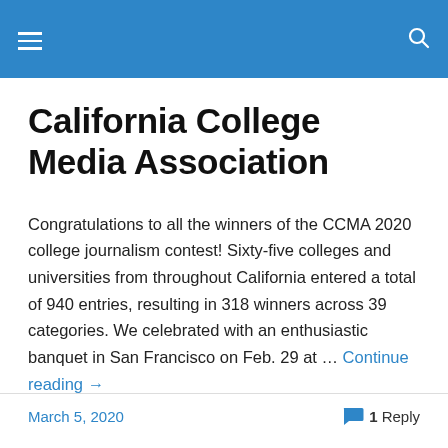California College Media Association
California College Media Association
Congratulations to all the winners of the CCMA 2020 college journalism contest! Sixty-five colleges and universities from throughout California entered a total of 940 entries, resulting in 318 winners across 39 categories. We celebrated with an enthusiastic banquet in San Francisco on Feb. 29 at … Continue reading →
March 5, 2020    1 Reply